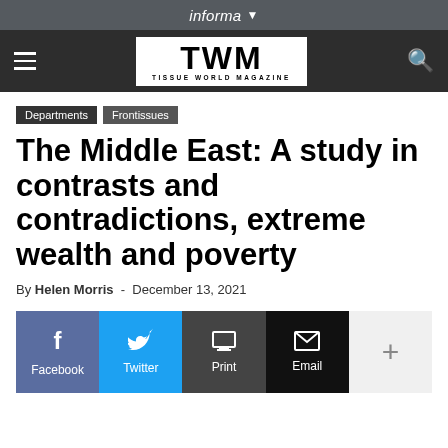informa ▼
[Figure (logo): TWM Tissue World Magazine logo in black on white background, centered in dark navigation bar with hamburger menu on left and search icon on right]
Departments   Frontissues
The Middle East: A study in contrasts and contradictions, extreme wealth and poverty
By Helen Morris - December 13, 2021
Facebook   Twitter   Print   Email   +